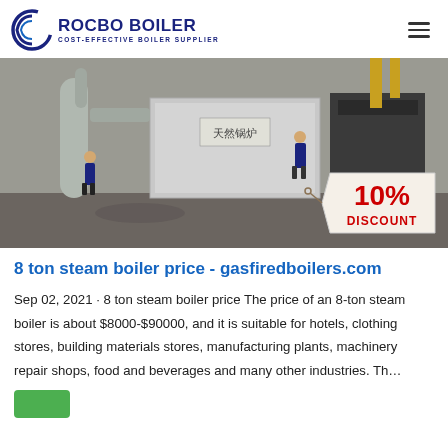ROCBO BOILER — COST-EFFECTIVE BOILER SUPPLIER
[Figure (photo): Industrial boiler equipment in a factory setting with workers, featuring a large metallic boiler unit with a 10% DISCOUNT badge in the bottom-right corner.]
8 ton steam boiler price - gasfiredboilers.com
Sep 02, 2021 · 8 ton steam boiler price The price of an 8-ton steam boiler is about $8000-$90000, and it is suitable for hotels, clothing stores, building materials stores, manufacturing plants, machinery repair shops, food and beverages and many other industries. Th…